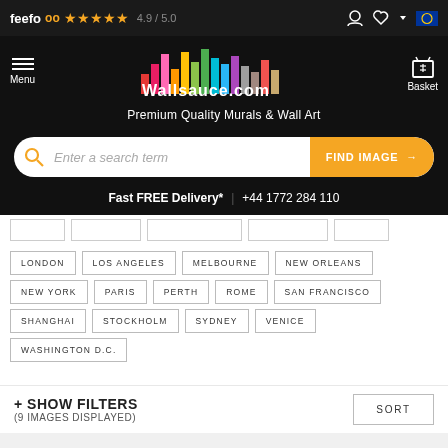feefo ★★★★★ 4.9 / 5.0
[Figure (logo): Wallsauce.com logo with colorful vertical bars above the text]
Premium Quality Murals & Wall Art
Enter a search term  FIND IMAGE →
Fast FREE Delivery* | +44 1772 284 110
LONDON
LOS ANGELES
MELBOURNE
NEW ORLEANS
NEW YORK
PARIS
PERTH
ROME
SAN FRANCISCO
SHANGHAI
STOCKHOLM
SYDNEY
VENICE
WASHINGTON D.C.
+ SHOW FILTERS
(9 IMAGES DISPLAYED)
SORT